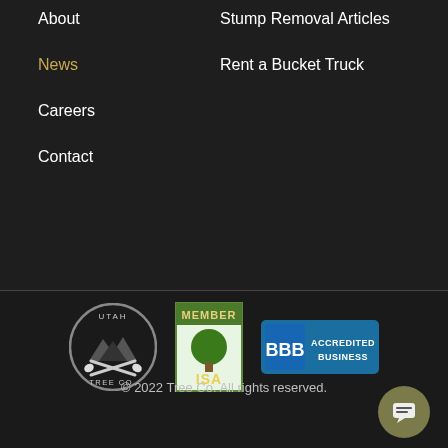About
Stump Removal Articles
News
Rent a Bucket Truck
Careers
Contact
[Figure (logo): Utah Tree Co. circular logo with crossed axes and mountain silhouette]
[Figure (logo): ISA Member badge with tree logo]
[Figure (logo): BBB Accredited Business badge]
© 2022 Tree Co. All rights reserved.
[Figure (other): Facebook and Instagram social media icons, and a chat button]